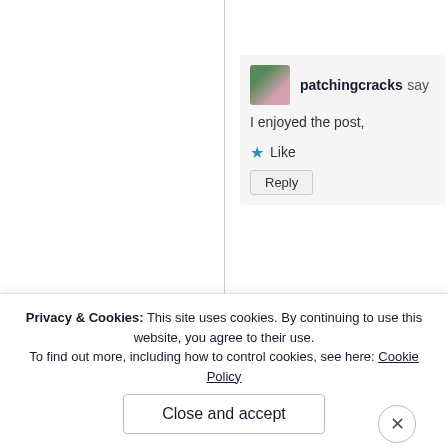[Figure (screenshot): A Reply button at the top of the page]
patchingcracks says
[Figure (photo): Avatar thumbnail photo of two people]
I enjoyed the post,
★ Like
Reply
Advertisement
Nee
and
Privacy & Cookies: This site uses cookies. By continuing to use this website, you agree to their use.
To find out more, including how to control cookies, see here: Cookie Policy
Close and accept